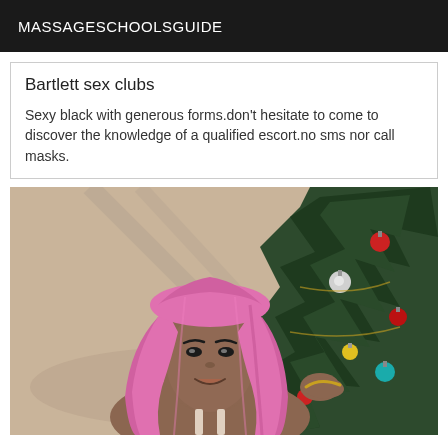MASSAGESCHOOLSGUIDE
Bartlett sex clubs
Sexy black with generous forms.don't hesitate to come to discover the knowledge of a qualified escort.no sms nor call masks.
[Figure (photo): A woman with long pink braided hair sitting in front of a decorated Christmas tree with colorful ornaments including red, silver, teal, and yellow balls.]